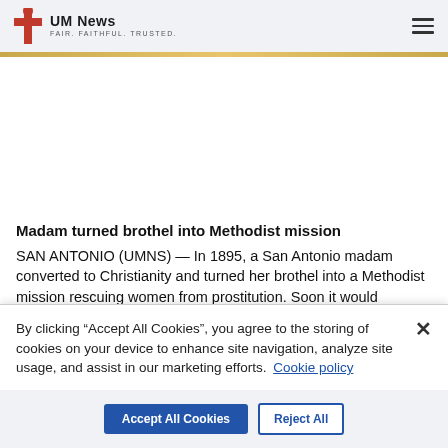UM News FAIR. FAITHFUL. TRUSTED.
Madam turned brothel into Methodist mission
SAN ANTONIO (UMNS) — In 1895, a San Antonio madam converted to Christianity and turned her brothel into a Methodist mission rescuing women from prostitution. Soon it would become a refuge for young women pregnant out of wedlock. Now known as Providence Place, it's still a vital, United Methodist-supported ministry. Sam Hodges reports.
By clicking “Accept All Cookies”, you agree to the storing of cookies on your device to enhance site navigation, analyze site usage, and assist in our marketing efforts. Cookie policy